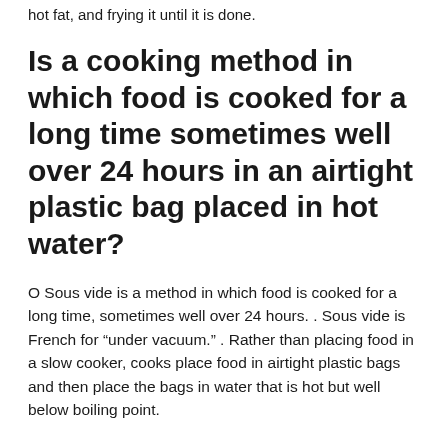hot fat, and frying it until it is done.
Is a cooking method in which food is cooked for a long time sometimes well over 24 hours in an airtight plastic bag placed in hot water?
O Sous vide is a method in which food is cooked for a long time, sometimes well over 24 hours. . Sous vide is French for “under vacuum.” . Rather than placing food in a slow cooker, cooks place food in airtight plastic bags and then place the bags in water that is hot but well below boiling point.